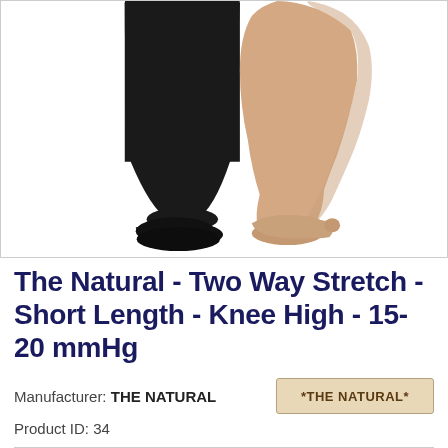[Figure (photo): Product photo showing two pairs of legs wearing compression knee-high stockings — one pair in black stockings and one pair in nude/beige stockings, on a white background.]
The Natural - Two Way Stretch - Short Length - Knee High - 15-20 mmHg
Manufacturer: THE NATURAL
Product ID: 34